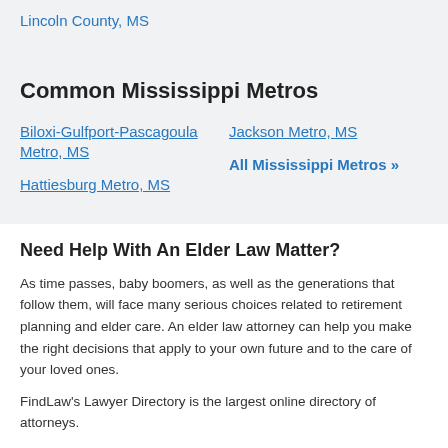Lincoln County, MS
Common Mississippi Metros
Biloxi-Gulfport-Pascagoula Metro, MS
Jackson Metro, MS
Hattiesburg Metro, MS
All Mississippi Metros »
Need Help With An Elder Law Matter?
As time passes, baby boomers, as well as the generations that follow them, will face many serious choices related to retirement planning and elder care. An elder law attorney can help you make the right decisions that apply to your own future and to the care of your loved ones.
FindLaw's Lawyer Directory is the largest online directory of attorneys.